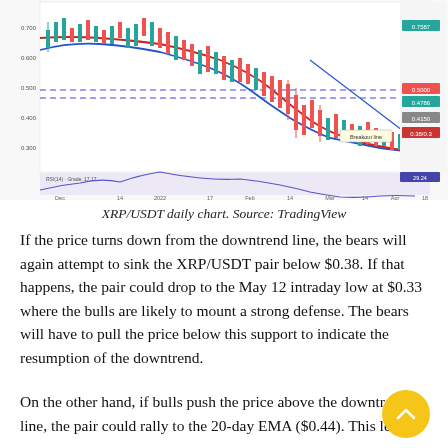[Figure (continuous-plot): XRP/USDT daily candlestick chart from TradingView showing price action with moving averages (blue and red lines), a dashed horizontal support/resistance zone, and a downtrend line. Lower panel shows RSI oscillator line chart. X-axis shows dates from Dec through Jun/Jul. Price labels on right side include values around 0.38-0.80 range.]
XRP/USDT daily chart. Source: TradingView
If the price turns down from the downtrend line, the bears will again attempt to sink the XRP/USDT pair below $0.38. If that happens, the pair could drop to the May 12 intraday low at $0.33 where the bulls are likely to mount a strong defense. The bears will have to pull the price below this support to indicate the resumption of the downtrend.
On the other hand, if bulls push the price above the downtrend line, the pair could rally to the 20-day EMA ($0.44). This level